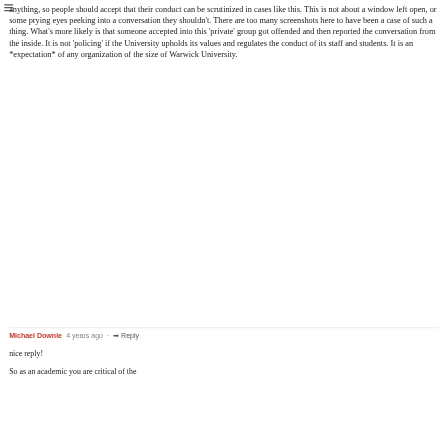anything, so people should accept that their conduct can be scrutinized in cases like this. This is not about a window left open, or some prying eyes peeking into a conversation they shouldn't. There are too many screenshots here to have been a case of such a thing. What's more likely is that someone accepted into this 'private' group got offended and then reported the conversation from the inside. It is not 'policing' if the University upholds its values and regulates the conduct of its staff and students. It is an *expectation* of any organization of the size of Warwick University.
Michael Downie  4 years ago  ·  Reply
nice reply!
So as an academic you are critical of the